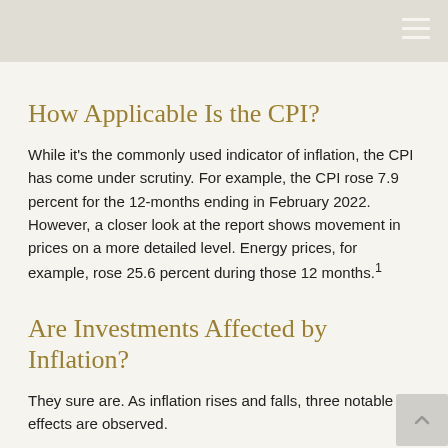How Applicable Is the CPI?
While it's the commonly used indicator of inflation, the CPI has come under scrutiny. For example, the CPI rose 7.9 percent for the 12-months ending in February 2022. However, a closer look at the report shows movement in prices on a more detailed level. Energy prices, for example, rose 25.6 percent during those 12 months.¹
Are Investments Affected by Inflation?
They sure are. As inflation rises and falls, three notable effects are observed.